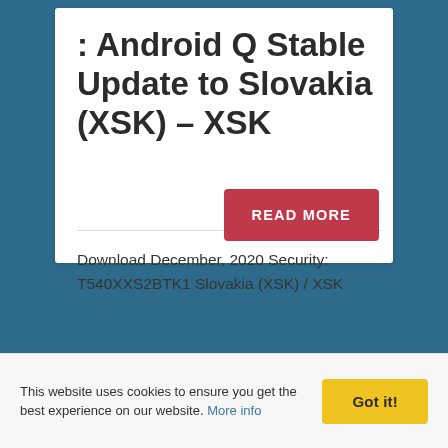: Android Q Stable Update to Slovakia (XSK) – XSK
Download December, 2020 Security: T540XXS2BTK1 Slovakia (XSK) / XSK
READ MORE
This website uses cookies to ensure you get the best experience on our website. More info
Got it!